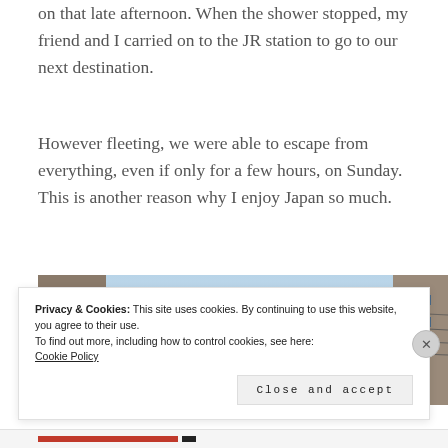on that late afternoon. When the shower stopped, my friend and I carried on to the JR station to go to our next destination.
However fleeting, we were able to escape from everything, even if only for a few hours, on Sunday. This is another reason why I enjoy Japan so much.
[Figure (photo): Street-level photo looking up at orange paper lanterns strung on wires between buildings in Japan, with a light blue sky background.]
Privacy & Cookies: This site uses cookies. By continuing to use this website, you agree to their use.
To find out more, including how to control cookies, see here:
Cookie Policy
Close and accept